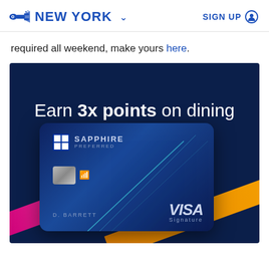NEW YORK    SIGN UP
required all weekend, make yours here.
[Figure (illustration): Chase Sapphire Preferred credit card advertisement banner with dark navy background. Text reads 'Earn 3x points on dining worldwide.' with an image of the Chase Sapphire Preferred Visa Signature card held by D. Barrett, with orange and pink diagonal stripes in the background.]